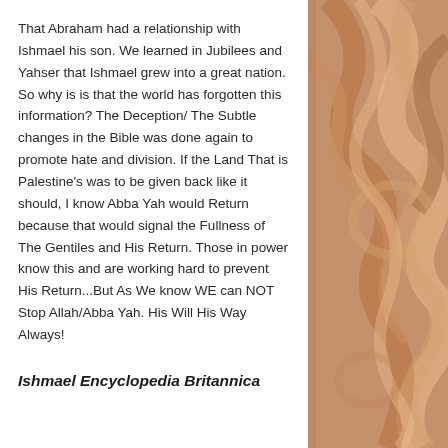That Abraham had a relationship with Ishmael his son. We learned in Jubilees and Yahser that Ishmael grew into a great nation. So why is is that the world has forgotten this information? The Deception/ The Subtle changes in the Bible was done again to promote hate and division. If the Land That is Palestine's was to be given back like it should, I know Abba Yah would Return because that would signal the Fullness of The Gentiles and His Return. Those in power know this and are working hard to prevent His Return...But As We know WE can NOT Stop Allah/Abba Yah. His Will His Way Always!
Ishmael Encyclopedia Britannica
[Figure (illustration): Decorative swirling abstract art in warm terracotta, peach, and brown tones forming spiral/ribbon patterns]